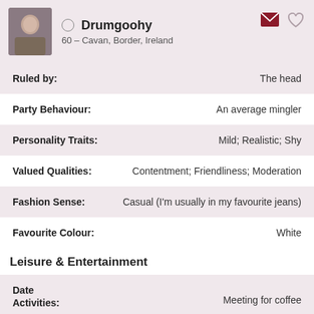Drumgoohy
60 – Cavan, Border, Ireland
Ruled by: The head
Party Behaviour: An average mingler
Personality Traits: Mild; Realistic; Shy
Valued Qualities: Contentment; Friendliness; Moderation
Fashion Sense: Casual (I'm usually in my favourite jeans)
Favourite Colour: White
Leisure & Entertainment
Date Activities: Meeting for coffee